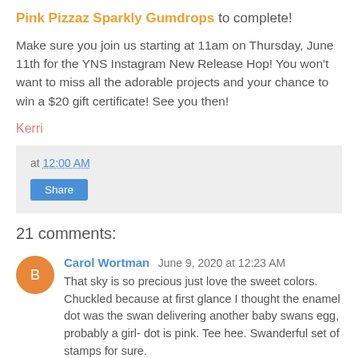Pink Pizzaz Sparkly Gumdrops to complete!
Make sure you join us starting at 11am on Thursday, June 11th for the YNS Instagram New Release Hop! You won't want to miss all the adorable projects and your chance to win a $20 gift certificate! See you then!
Kerri
at 12:00 AM
Share
21 comments:
Carol Wortman June 9, 2020 at 12:23 AM
That sky is so precious just love the sweet colors. Chuckled because at first glance I thought the enamel dot was the swan delivering another baby swans egg, probably a girl- dot is pink. Tee hee. Swanderful set of stamps for sure.